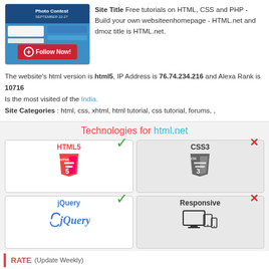[Figure (screenshot): Website screenshot thumbnail with Follow Now button]
Site Title Free tutorials on HTML, CSS and PHP - Build your own websiteenhomepage - HTML.net and dmoz title is HTML.net.
The website's html version is html5, IP Address is 76.74.234.216 and Alexa Rank is 10716
Is the most visited of the India.
Site Categories : html, css, xhtml, html tutorial, css tutorial, forums, ,
[Figure (infographic): Technologies for html.net showing HTML5 (yes), CSS3 (no), jQuery (yes), Responsive (no)]
RATE (Update Weekly)